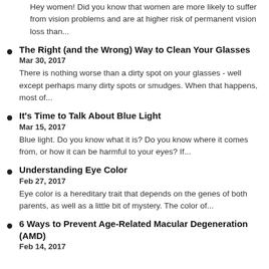Hey women! Did you know that women are more likely to suffer from vision problems and are at higher risk of permanent vision loss than...
The Right (and the Wrong) Way to Clean Your Glasses
Mar 30, 2017
There is nothing worse than a dirty spot on your glasses - well except perhaps many dirty spots or smudges. When that happens, most of...
It's Time to Talk About Blue Light
Mar 15, 2017
Blue light. Do you know what it is? Do you know where it comes from, or how it can be harmful to your eyes? If...
Understanding Eye Color
Feb 27, 2017
Eye color is a hereditary trait that depends on the genes of both parents, as well as a little bit of mystery. The color of...
6 Ways to Prevent Age-Related Macular Degeneration (AMD)
Feb 14, 2017